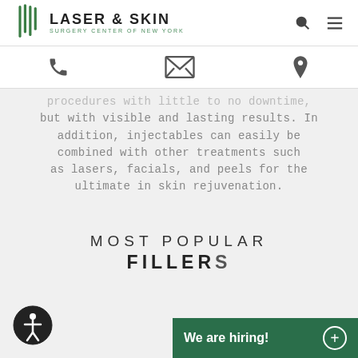LASER & SKIN SURGERY CENTER OF NEW YORK
[Figure (infographic): Navigation icons: phone, envelope/mail, location pin]
procedures with little to no downtime, but with visible and lasting results. In addition, injectables can easily be combined with other treatments such as lasers, facials, and peels for the ultimate in skin rejuvenation.
MOST POPULAR FILLERS
[Figure (other): Accessibility icon button (person in circle)]
We are hiring!